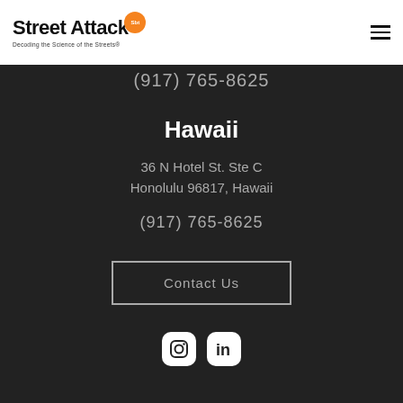Street Attack — Decoding the Science of the Streets
(917) 765-8625
Hawaii
36 N Hotel St. Ste C
Honolulu 96817, Hawaii
(917) 765-8625
Contact Us
[Figure (infographic): Instagram and LinkedIn social media icons, white on dark rounded square backgrounds]